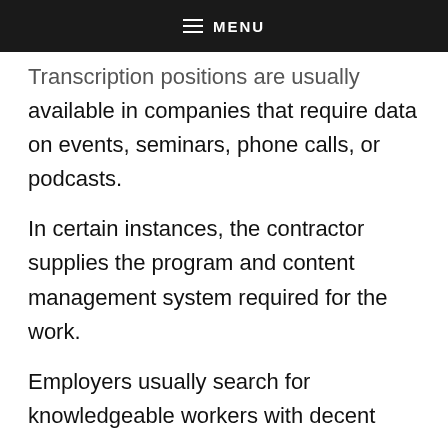MENU
Transcription positions are usually available in companies that require data on events, seminars, phone calls, or podcasts.
In certain instances, the contractor supplies the program and content management system required for the work.
Employers usually search for knowledgeable workers with decent